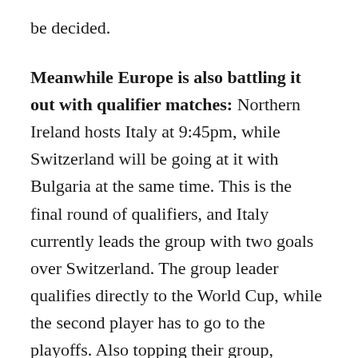be decided.
Meanwhile Europe is also battling it out with qualifier matches: Northern Ireland hosts Italy at 9:45pm, while Switzerland will be going at it with Bulgaria at the same time. This is the final round of qualifiers, and Italy currently leads the group with two goals over Switzerland. The group leader qualifies directly to the World Cup, while the second player has to go to the playoffs. Also topping their group, England have an easy task when they leave to face San Marino at 9:45pm. A tie is enough for the English to ensure their official qualification to the World Cup, a result that seems inevitable considering San Marino occupying the bottom of the group with